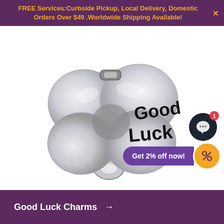FREE Services:Curbside Pickup, Local Delivery, Domestic Orders Over $49 .Worldwide Shipping Available!
[Figure (photo): A silver four-leaf clover charm bead with 'Good Luck' written in black script on it, photographed close-up against a white background. The charm has a metallic loop at top for attachment to a bracelet.]
Get 2% off now!
Good Luck Charms →